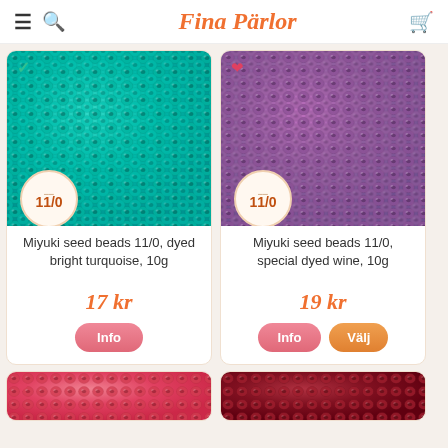Fina Pärlor
[Figure (photo): Miyuki seed beads 11/0 dyed bright turquoise, close-up macro photo of many small teal/turquoise beads with a circular size badge showing 11/0]
Miyuki seed beads 11/0, dyed bright turquoise, 10g
17 kr
[Figure (photo): Miyuki seed beads 11/0 special dyed wine/purple, close-up macro photo of many small purple beads with a circular size badge showing 11/0]
Miyuki seed beads 11/0, special dyed wine, 10g
19 kr
[Figure (photo): Partial view of pink/red seed beads at bottom of page]
[Figure (photo): Partial view of dark red seed beads at bottom of page]